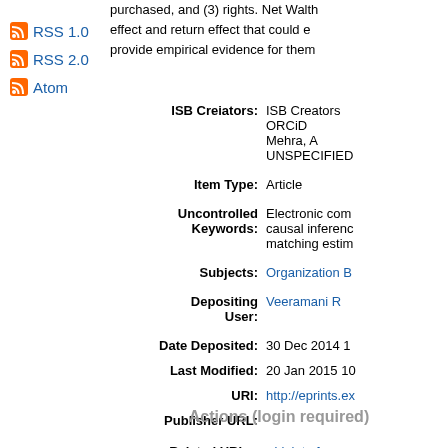purchased, and (3) rights. Net Walth effect and return effect that could e provide empirical evidence for them
RSS 1.0
RSS 2.0
Atom
| Label | Value |
| --- | --- |
| ISB Creiators: | ISB Creators ORCiD
Mehra, A
UNSPECIFIED |
| Item Type: | Article |
| Uncontrolled Keywords: | Electronic com causal inferenc matching estim |
| Subjects: | Organization B |
| Depositing User: | Veeramani R |
| Date Deposited: | 30 Dec 2014 1 |
| Last Modified: | 20 Jan 2015 10 |
| URI: | http://eprints.ex |
| Publisher URL: |  |
| Related URLs: | Link to f |
Actions (login required)